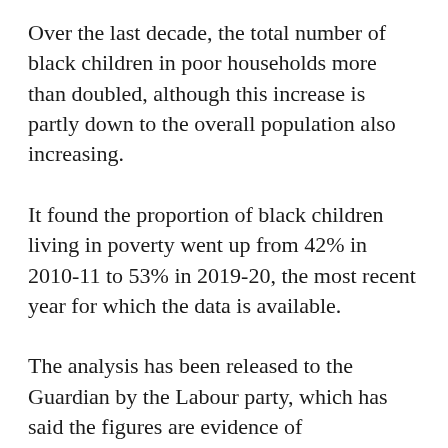Over the last decade, the total number of black children in poor households more than doubled, although this increase is partly down to the overall population also increasing.
It found the proportion of black children living in poverty went up from 42% in 2010-11 to 53% in 2019-20, the most recent year for which the data is available.
The analysis has been released to the Guardian by the Labour party, which has said the figures are evidence of ‘Conservative incompetence and denialism about the existence of structural racism’.